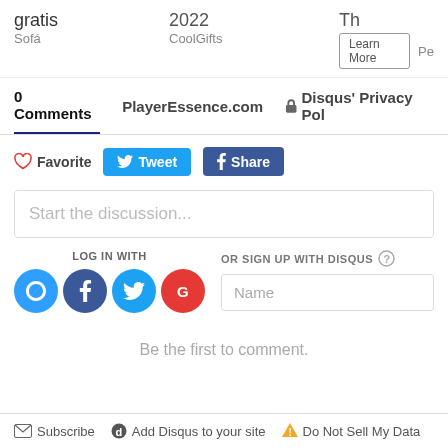gratis / Sofá | 2022 / CoolGifts | Learn More | Th... / Pe...
0 Comments   PlayerEssence.com   🔒 Disqus' Privacy Pol
♡ Favorite   Tweet   f Share
Start the discussion...
LOG IN WITH
OR SIGN UP WITH DISQUS ?
Name
Be the first to comment.
Subscribe   Add Disqus to your site   ⚠ Do Not Sell My Data